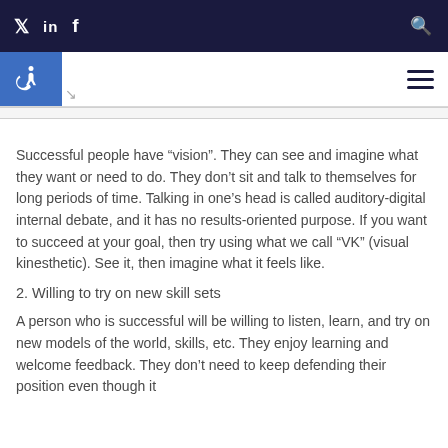Twitter LinkedIn Facebook [Search]
[Figure (other): Accessibility icon button (wheelchair symbol) and hamburger menu icon]
Successful people have “vision”. They can see and imagine what they want or need to do. They don’t sit and talk to themselves for long periods of time. Talking in one’s head is called auditory-digital internal debate, and it has no results-oriented purpose. If you want to succeed at your goal, then try using what we call “VK” (visual kinesthetic). See it, then imagine what it feels like.
2. Willing to try on new skill sets
A person who is successful will be willing to listen, learn, and try on new models of the world, skills, etc. They enjoy learning and welcome feedback. They don’t need to keep defending their position even though it